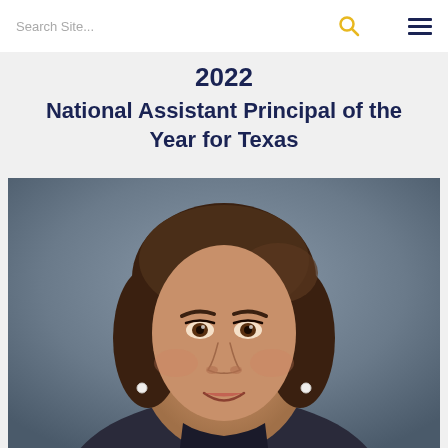Search Site...
2022 National Assistant Principal of the Year for Texas
[Figure (photo): Professional headshot portrait of a woman with brown hair pulled back, wearing pearl earrings, smiling, against a gray background.]